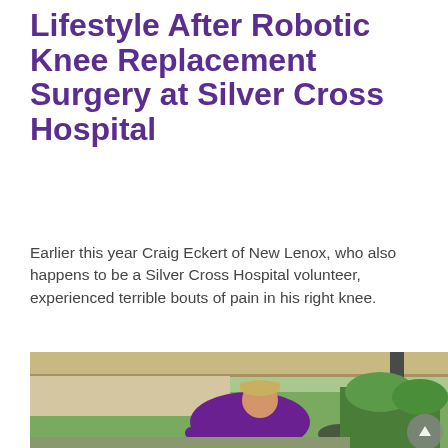Lifestyle After Robotic Knee Replacement Surgery at Silver Cross Hospital
Earlier this year Craig Eckert of New Lenox, who also happens to be a Silver Cross Hospital volunteer, experienced terrible bouts of pain in his right knee.
[Figure (photo): A smiling man in a purple jacket and tan cap sitting in a golf cart, photographed outdoors near Silver Cross Hospital with green trees and parking area in the background.]